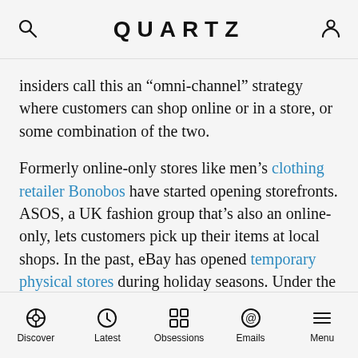QUARTZ
insiders call this an “omni-channel” strategy where customers can shop online or in a store, or some combination of the two.
Formerly online-only stores like men’s clothing retailer Bonobos have started opening storefronts. ASOS, a UK fashion group that’s also an online-only, lets customers pick up their items at local shops. In the past, eBay has opened temporary physical stores during holiday seasons. Under the trial tie-up with Argos, eBay customers will not have to pay shipping costs for items they pick up in stores.
The eBay-Argos deal is also one way to compete with Amazon, which offers next-day delivery service and an
Discover | Latest | Obsessions | Emails | Menu